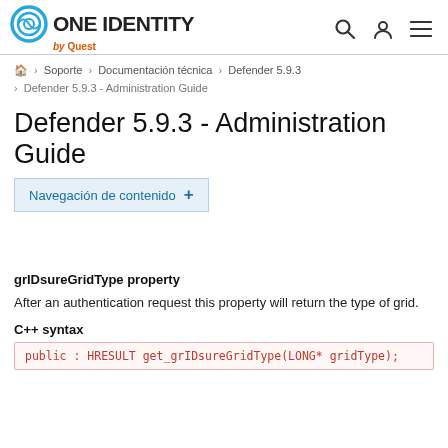[Figure (logo): One Identity by Quest logo in header]
One Identity by Quest — header with search, user, and menu icons
🏠 > Soporte > Documentación técnica > Defender 5.9.3 > Defender 5.9.3 - Administration Guide
Defender 5.9.3 - Administration Guide
Navegación de contenido +
grIDsureGridType property
After an authentication request this property will return the type of grid.
C++ syntax
public : HRESULT get_grIDsureGridType(LONG* gridType);